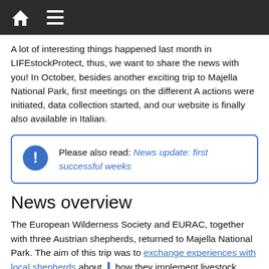Home | Menu
A lot of interesting things happened last month in LIFEstockProtect, thus, we want to share the news with you! In October, besides another exciting trip to Majella National Park, first meetings on the different A actions were initiated, data collection started, and our website is finally also available in Italian.
Please also read: News update: first successful weeks
News overview
The European Wilderness Society and EURAC, together with three Austrian shepherds, returned to Majella National Park. The aim of this trip was to exchange experiences with local shepherds about how they implement livestock protection. As the Apennines in Central Italy represent one of the regions in Europe where wolves never